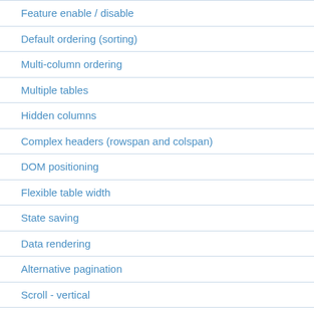Feature enable / disable
Default ordering (sorting)
Multi-column ordering
Multiple tables
Hidden columns
Complex headers (rowspan and colspan)
DOM positioning
Flexible table width
State saving
Data rendering
Alternative pagination
Scroll - vertical
Scroll - vertical, dynamic height
Scroll - horizontal
Scroll - horizontal and vertical
Language - Comma decimal place